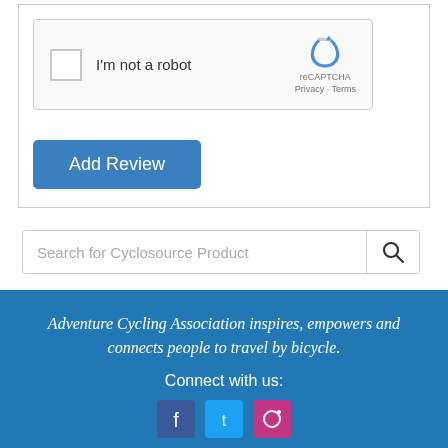[Figure (screenshot): reCAPTCHA widget with checkbox labeled 'I'm not a robot', reCAPTCHA logo and Privacy/Terms links]
[Figure (screenshot): Blue 'Add Review' button]
[Figure (screenshot): Search bar with placeholder 'Search for Cyclosource Product' and a search icon button]
Adventure Cycling Association inspires, empowers and connects people to travel by bicycle.
Connect with us: